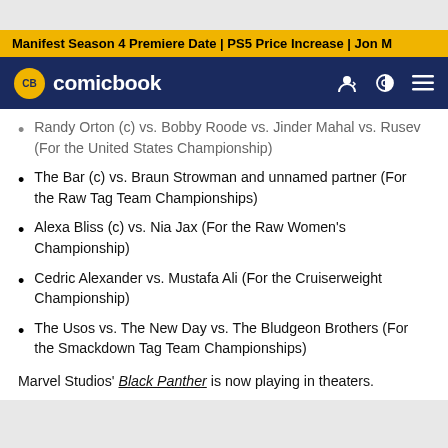Manifest Season 4 Premiere Date | PS5 Price Increase | Jon M
[Figure (logo): ComicBook.com navigation bar with CB logo in yellow circle, site name in white, user icon, theme toggle, and menu icon on dark navy background]
Randy Orton (c) vs. Bobby Roode vs. Jinder Mahal vs. Rusev (For the United States Championship)
The Bar (c) vs. Braun Strowman and unnamed partner (For the Raw Tag Team Championships)
Alexa Bliss (c) vs. Nia Jax (For the Raw Women's Championship)
Cedric Alexander vs. Mustafa Ali (For the Cruiserweight Championship)
The Usos vs. The New Day vs. The Bludgeon Brothers (For the Smackdown Tag Team Championships)
Marvel Studios' Black Panther is now playing in theaters.